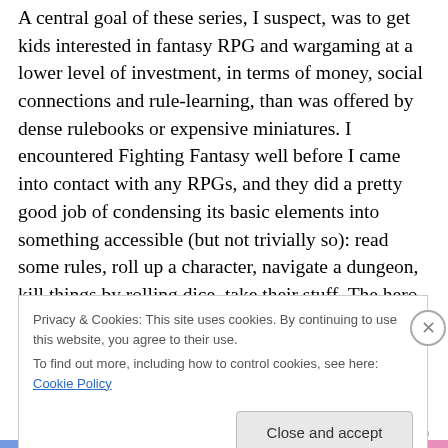A central goal of these series, I suspect, was to get kids interested in fantasy RPG and wargaming at a lower level of investment, in terms of money, social connections and rule-learning, than was offered by dense rulebooks or expensive miniatures. I encountered Fighting Fantasy well before I came into contact with any RPGs, and they did a pretty good job of condensing its basic elements into something accessible (but not trivially so): read some rules, roll up a character, navigate a dungeon, kill things by rolling dice, take their stuff. The hero in Fighting Fantasy is largely uncharacterised; in theory he's a
[Figure (screenshot): Cookie consent banner overlay with text about privacy and cookies policy, a close X button, and a 'Close and accept' button.]